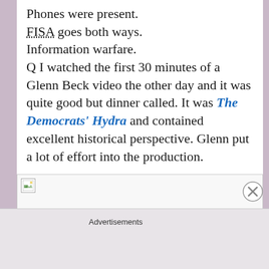Phones were present. FISA goes both ways. Information warfare. Q I watched the first 30 minutes of a Glenn Beck video the other day and it was quite good but dinner called. It was The Democrats' Hydra and contained excellent historical perspective. Glenn put a lot of effort into the production.
[Figure (other): Broken image placeholder icon with gray border]
Advertisements